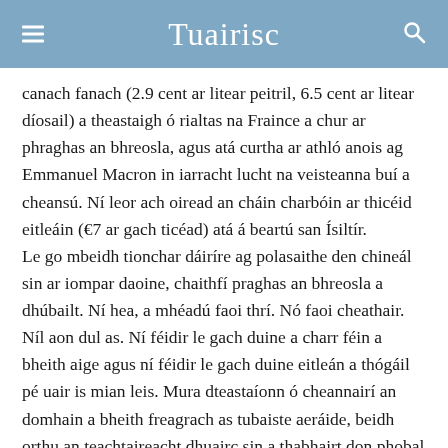Tuairisc
canach fanach (2.9 cent ar litear peitril, 6.5 cent ar litear díosail) a theastaigh ó rialtas na Fraince a chur ar phraghas an bhreosla, agus atá curtha ar athló anois ag Emmanuel Macron in iarracht lucht na veisteanna buí a cheansú. Ní leor ach oiread an cháin charbóin ar thicéid eitleáin (€7 ar gach ticéad) atá á beartú san Ísiltír.
Le go mbeidh tionchar dáiríre ag polasaithe den chineál sin ar iompar daoine, chaithfí praghas an bhreosla a dhúbailt. Ní hea, a mhéadú faoi thrí. Nó faoi cheathair.
Níl aon dul as. Ní féidir le gach duine a charr féin a bheith aige agus ní féidir le gach duine eitleán a thógáil pé uair is mian leis. Mura dteastaíonn ó cheannairí an domhain a bheith freagrach as tubaiste aeráide, beidh orthu an teachtaireacht dhuairc sin a thabhairt don phobal sula mbeidh sé ró-mhall.